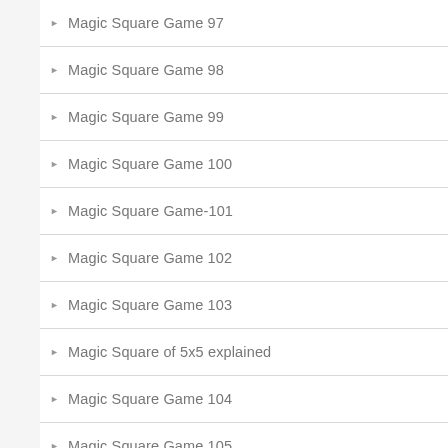Magic Square Game 97
Magic Square Game 98
Magic Square Game 99
Magic Square Game 100
Magic Square Game-101
Magic Square Game 102
Magic Square Game 103
Magic Square of 5x5 explained
Magic Square Game 104
Magic Square Game 105
Magic Square Game 106
magic square game 107
magic square game 108
magic square game 109